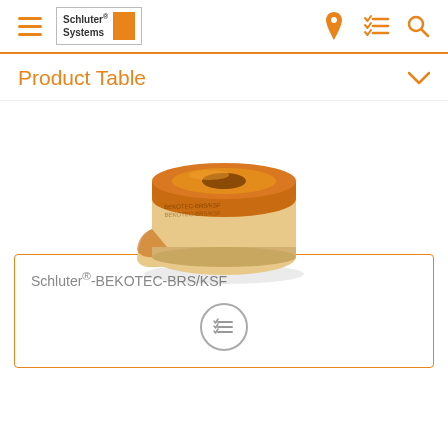Schluter Systems
Product Table
[Figure (photo): A roll of orange Schluter-BEKOTEC-BRS/KSF foam strip tape product, coiled in a roll showing the foam backing and orange top surface with printed text.]
Schluter®-BEKOTEC-BRS/KSF